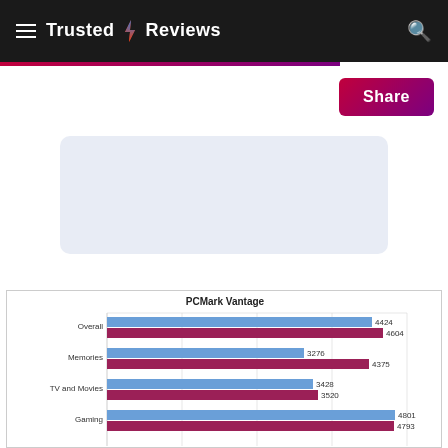Trusted Reviews
[Figure (bar-chart): PCMark Vantage]